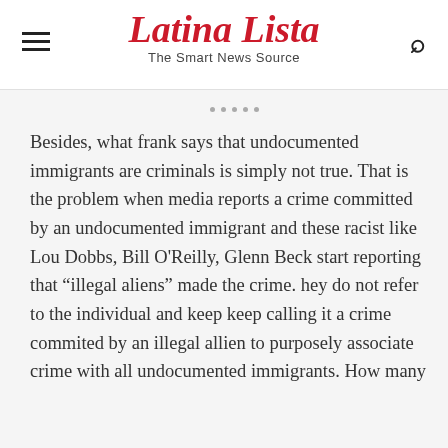Latina Lista — The Smart News Source
Besides, what frank says that undocumented immigrants are criminals is simply not true. That is the problem when media reports a crime committed by an undocumented immigrant and these racist like Lou Dobbs, Bill O'Reilly, Glenn Beck start reporting that “illegal aliens” made the crime. hey do not refer to the individual and keep keep calling it a crime commited by an illegal allien to purposely associate crime with all undocumented immigrants. How many